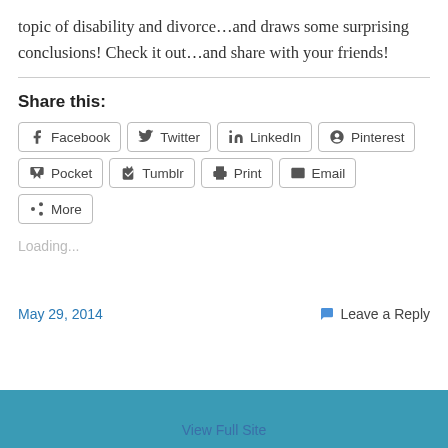topic of disability and divorce…and draws some surprising conclusions! Check it out…and share with your friends!
Share this:
[Figure (infographic): Social share buttons: Facebook, Twitter, LinkedIn, Pinterest, Pocket, Tumblr, Print, Email, More]
Loading...
May 29, 2014
Leave a Reply
View Full Site